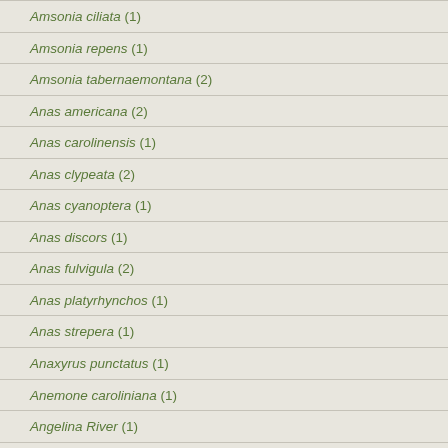Amsonia ciliata (1)
Amsonia repens (1)
Amsonia tabernaemontana (2)
Anas americana (2)
Anas carolinensis (1)
Anas clypeata (2)
Anas cyanoptera (1)
Anas discors (1)
Anas fulvigula (2)
Anas platyrhynchos (1)
Anas strepera (1)
Anaxyrus punctatus (1)
Anemone caroliniana (1)
Angelina River (1)
Anglepod (1)